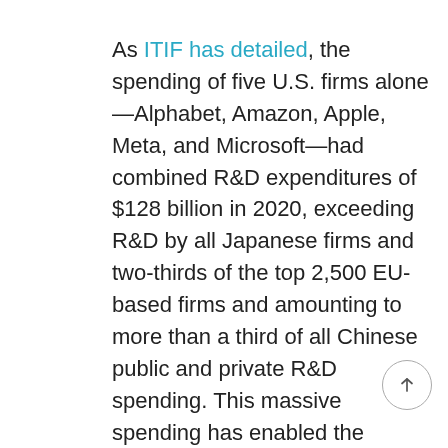As ITIF has detailed, the spending of five U.S. firms alone—Alphabet, Amazon, Apple, Meta, and Microsoft—had combined R&D expenditures of $128 billion in 2020, exceeding R&D by all Japanese firms and two-thirds of the top 2,500 EU-based firms and amounting to more than a third of all Chinese public and private R&D spending. This massive spending has enabled the United States to lead in critical technological innovation in artificial intelligence (AI), quantum computing, robotics, and other fields. These advances carry direct benefits to consumers in the form of products and services we use every day. They also serve as an engine for continued U.S. innovation and global leadership in technology. Network effects, which are prevalent in the technology sector, feed on themselves and are known to be one of the primary drivers of R&D investments. R&D by top tech companies leads to